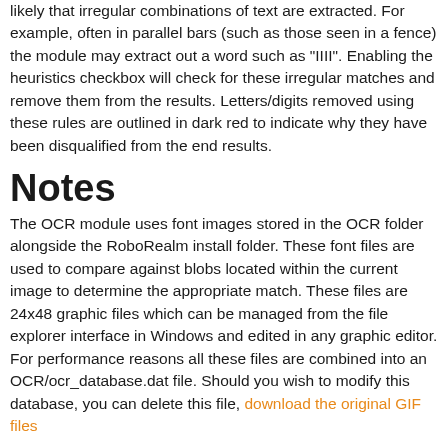likely that irregular combinations of text are extracted. For example, often in parallel bars (such as those seen in a fence) the module may extract out a word such as "IIII". Enabling the heuristics checkbox will check for these irregular matches and remove them from the results. Letters/digits removed using these rules are outlined in dark red to indicate why they have been disqualified from the end results.
Notes
The OCR module uses font images stored in the OCR folder alongside the RoboRealm install folder. These font files are used to compare against blobs located within the current image to determine the appropriate match. These files are 24x48 graphic files which can be managed from the file explorer interface in Windows and edited in any graphic editor. For performance reasons all these files are combined into an OCR/ocr_database.dat file. Should you wish to modify this database, you can delete this file, download the original GIF files